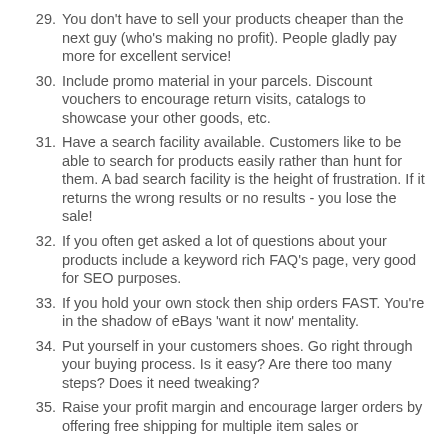29. You don't have to sell your products cheaper than the next guy (who's making no profit). People gladly pay more for excellent service!
30. Include promo material in your parcels. Discount vouchers to encourage return visits, catalogs to showcase your other goods, etc.
31. Have a search facility available. Customers like to be able to search for products easily rather than hunt for them. A bad search facility is the height of frustration. If it returns the wrong results or no results - you lose the sale!
32. If you often get asked a lot of questions about your products include a keyword rich FAQ's page, very good for SEO purposes.
33. If you hold your own stock then ship orders FAST. You're in the shadow of eBays 'want it now' mentality.
34. Put yourself in your customers shoes. Go right through your buying process. Is it easy? Are there too many steps? Does it need tweaking?
35. Raise your profit margin and encourage larger orders by offering free shipping for multiple item sales or...